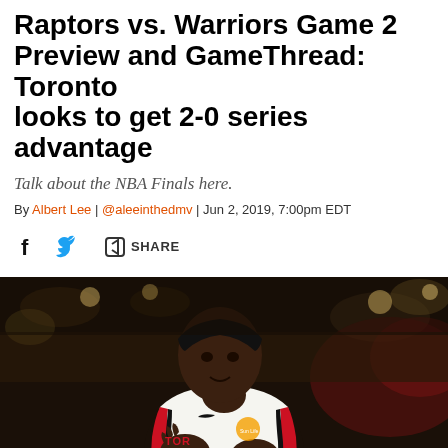Raptors vs. Warriors Game 2 Preview and GameThread: Toronto looks to get 2-0 series advantage
Talk about the NBA Finals here.
By Albert Lee | @aleeinthedmv | Jun 2, 2019, 7:00pm EDT
SHARE
[Figure (photo): Pascal Siakam of the Toronto Raptors clapping during a game, wearing a white Raptors jersey with Sun Life logo, black headband, arena crowd in background]